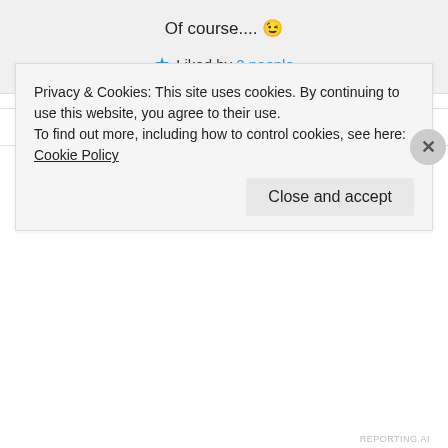Of course.... 😉
★ Liked by 2 people
Advertisements
Amanda @Cover2CoverMom on April 8, 2017 at 02:59
Privacy & Cookies: This site uses cookies. By continuing to use this website, you agree to their use.
To find out more, including how to control cookies, see here: Cookie Policy
Close and accept